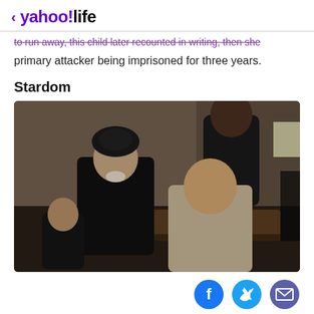< yahoo!life
...primary attacker being imprisoned for three years.
Stardom
[Figure (photo): Movie still showing four characters in a dimly lit indoor setting. On the left, a woman in dark clothing with a decorative hat sits beside a young boy. In the center-right, a man in a light suit leans forward. Behind them stands a tall Black man in a dark jacket.]
Social share icons: Facebook, Twitter, Email